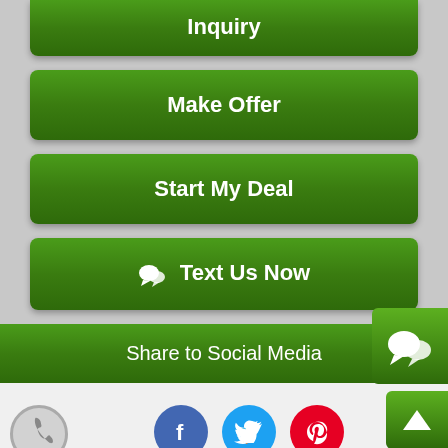[Figure (screenshot): Green button labeled Inquiry (partially visible at top)]
[Figure (screenshot): Green button labeled Make Offer]
[Figure (screenshot): Green button labeled Start My Deal]
[Figure (screenshot): Green button labeled Text Us Now with chat bubble icon]
[Figure (screenshot): Floating chat bubble icon in green square on right side]
[Figure (screenshot): Green bar labeled Share to Social Media]
[Figure (screenshot): Social media icons: Facebook, Twitter, Pinterest]
[Figure (screenshot): Scroll-to-top arrow button in green on right]
[Figure (screenshot): Phone icon circle on bottom left]